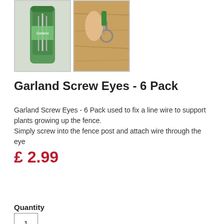[Figure (photo): Two product photos: left shows Garland Screw Eyes 6-pack in green packaging; right shows screw eye being inserted into wood fence with hand holding green screwdriver]
Garland Screw Eyes - 6 Pack
Garland Screw Eyes - 6 Pack used to fix a line wire to support plants growing up the fence.
Simply screw into the fence post and attach wire through the eye
£ 2.99
Add to Cart
Quantity
1